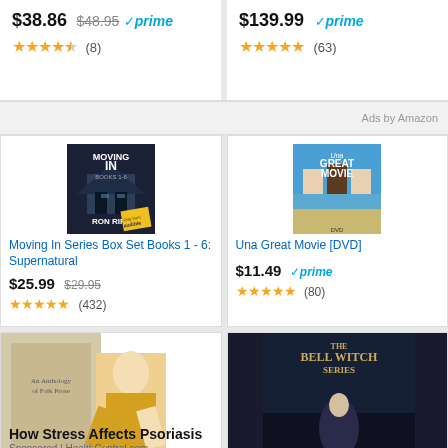$38.86 $48.95 ✓prime ★★★★★ (8)
$139.99 ✓prime ★★★★★ (63)
Ads by Amazon
[Figure (illustration): Book cover: Moving In series box set by Ron Riple, dark horror house image with audible logo]
Moving In Series Box Set Books 1 - 6: Supernatural
$25.99 $29.95 ★★★★★ (432)
[Figure (photo): DVD cover: Una Great Movie, three people sitting on a beach]
Una Great Movie [DVD]
$11.49 ✓prime ★★★★★ (80)
[Figure (photo): Bottom left card showing a woman scratching her arm with a book in background]
How Stress Affects Psoriasis
Sponsored | HealthCentral.com
[Figure (illustration): Book cover: The Bell Witch Series by Sara Clancy, dark fantasy cover]